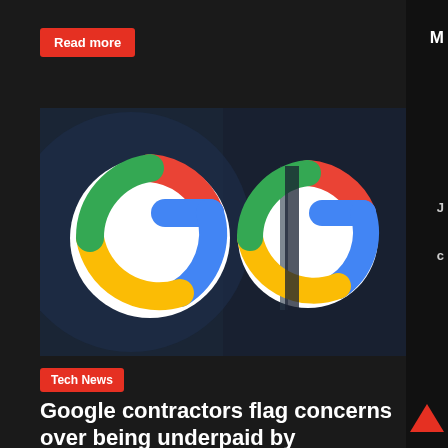Read more
[Figure (photo): Two Google logo badges/buttons photographed close-up on a dark background. Left shows full colorful Google 'G' logo on white circle. Right shows same logo partially obscured.]
Tech News
Google contractors flag concerns over being underpaid by recruiting agency